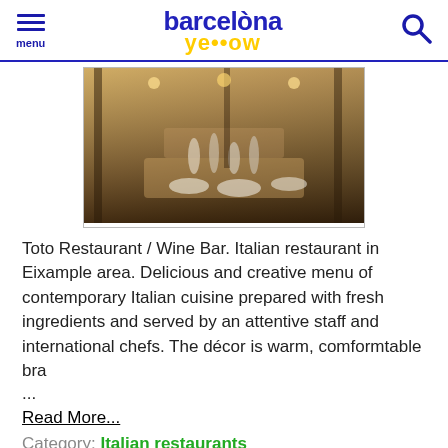menu | barcelona yellow | [search]
[Figure (photo): Interior of Toto Restaurant / Wine Bar showing set tables with glassware and warm ambient lighting]
Toto Restaurant / Wine Bar. Italian restaurant in Eixample area. Delicious and creative menu of contemporary Italian cuisine prepared with fresh ingredients and served by an attentive staff and international chefs. The décor is warm, comformtable bra
...
Read More...
Category: Italian restaurants
Tags  eixample area, italian, pizza, pasta, vegetarian friendly